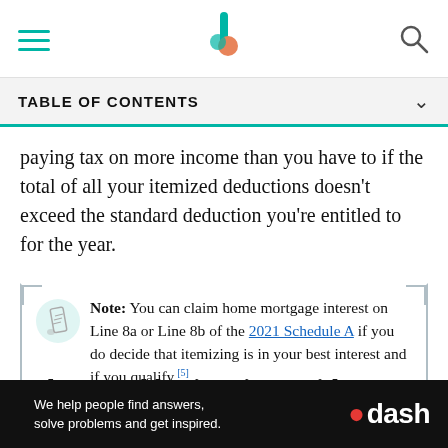TABLE OF CONTENTS
paying tax on more income than you have to if the total of all your itemized deductions doesn't exceed the standard deduction you're entitled to for the year.
Note: You can claim home mortgage interest on Line 8a or Line 8b of the 2021 Schedule A if you do decide that itemizing is in your best interest and if you qualify.[5]
Other Taxable Situations With Reverse Mortgages
[Figure (other): Advertisement banner: 'We help people find answers, solve problems and get inspired.' with .dash branding]